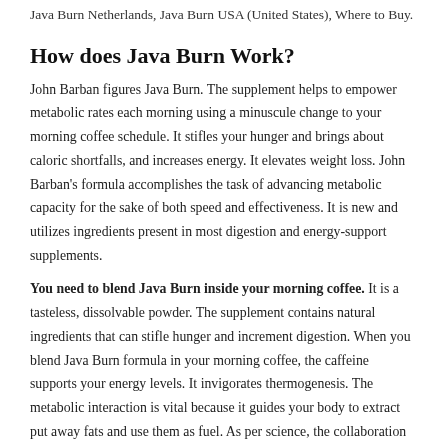Java Burn Netherlands, Java Burn USA (United States), Where to Buy.
How does Java Burn Work?
John Barban figures Java Burn. The supplement helps to empower metabolic rates each morning using a minuscule change to your morning coffee schedule. It stifles your hunger and brings about caloric shortfalls, and increases energy. It elevates weight loss. John Barban's formula accomplishes the task of advancing metabolic capacity for the sake of both speed and effectiveness. It is new and utilizes ingredients present in most digestion and energy-support supplements.
You need to blend Java Burn inside your morning coffee. It is a tasteless, dissolvable powder. The supplement contains natural ingredients that can stifle hunger and increment digestion. When you blend Java Burn formula in your morning coffee, the caffeine supports your energy levels. It invigorates thermogenesis. The metabolic interaction is vital because it guides your body to extract put away fats and use them as fuel. As per science, the collaboration of the ingredients advances the speed and viability of digestion. It changes...